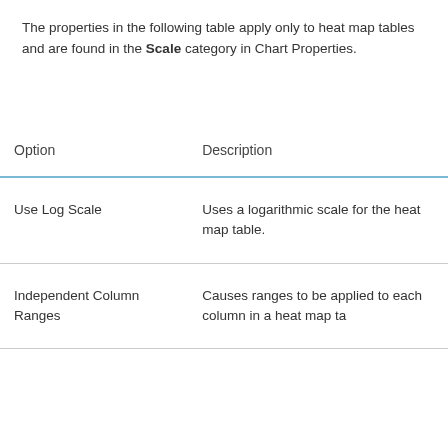The properties in the following table apply only to heat map tables and are found in the Scale category in Chart Properties.
| Option | Description |
| --- | --- |
| Use Log Scale | Uses a logarithmic scale for the heat map table. |
| Independent Column Ranges | Causes ranges to be applied to each column in a heat map ta... |